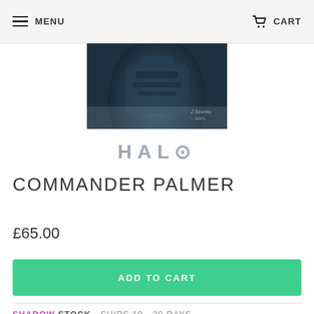MENU   CART
[Figure (photo): Halo armored character in dark teal/grey armor, close-up torso and helmet shot, signed artwork]
[Figure (logo): HALO logo in grey stylized font]
COMMANDER PALMER
£65.00
ADD TO CART
SHADOW STOCK - SHIPS 10 - 20 DAYS